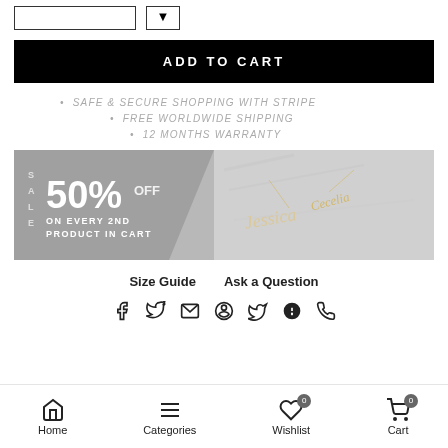[Figure (other): Top buttons: a rectangle button outline and a small arrow button outline]
ADD TO CART
SAFE & SECURE SHOPPING WITH STRIPE
FREE WORLDWIDE SHIPPING
12 MONTHS WARRANTY
[Figure (photo): Sale banner: grey background with '50% OFF ON EVERY 2ND PRODUCT IN CART' text on the left, and a photo of gold name necklaces ('Jessica' and 'Cecelia') on a marble surface on the right]
Size Guide    Ask a Question
[Figure (infographic): Row of social share icons: Facebook, Twitter, Email, Pinterest, Tumblr, Telegram, WhatsApp]
Home   Categories   Wishlist (0)   Cart (0)